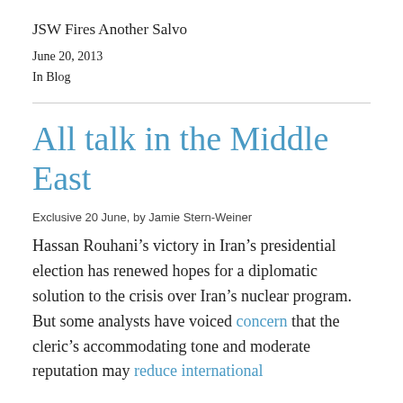JSW Fires Another Salvo
June 20, 2013
In Blog
All talk in the Middle East
Exclusive 20 June, by Jamie Stern-Weiner
Hassan Rouhani’s victory in Iran’s presidential election has renewed hopes for a diplomatic solution to the crisis over Iran’s nuclear program. But some analysts have voiced concern that the cleric’s accommodating tone and moderate reputation may reduce international pressure in the absence of substantive